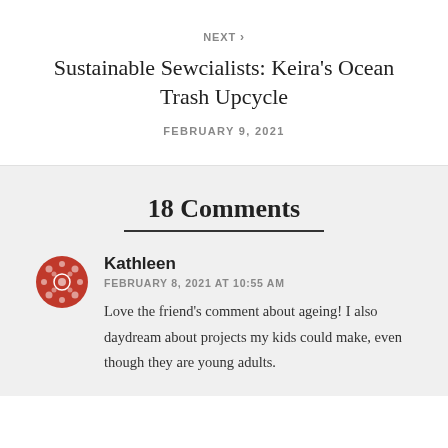NEXT >
Sustainable Sewcialists: Keira's Ocean Trash Upcycle
FEBRUARY 9, 2021
18 Comments
Kathleen
FEBRUARY 8, 2021 AT 10:55 AM
Love the friend's comment about ageing! I also daydream about projects my kids could make, even though they are young adults.